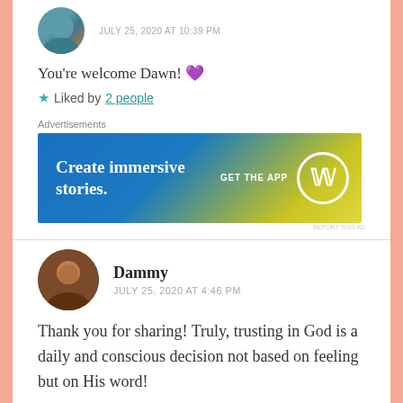JULY 25, 2020 AT 10:39 PM
You're welcome Dawn! 💜
★ Liked by 2 people
[Figure (screenshot): Advertisement banner: 'Create immersive stories. GET THE APP' with WordPress logo circle on blue-to-yellow gradient background]
Dammy
JULY 25, 2020 AT 4:46 PM
Thank you for sharing! Truly, trusting in God is a daily and conscious decision not based on feeling but on His word!